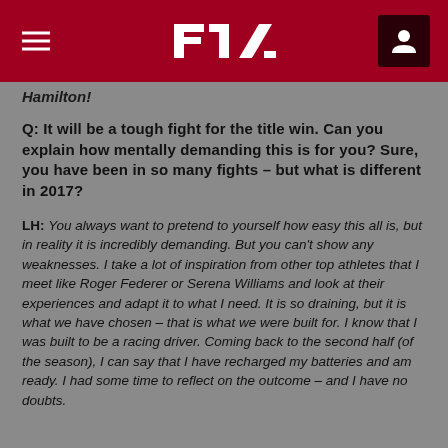F1 header navigation
Hamilton!
Q: It will be a tough fight for the title win. Can you explain how mentally demanding this is for you? Sure, you have been in so many fights – but what is different in 2017?
LH: You always want to pretend to yourself how easy this all is, but in reality it is incredibly demanding. But you can't show any weaknesses. I take a lot of inspiration from other top athletes that I meet like Roger Federer or Serena Williams and look at their experiences and adapt it to what I need. It is so draining, but it is what we have chosen – that is what we were built for. I know that I was built to be a racing driver. Coming back to the second half (of the season), I can say that I have recharged my batteries and am ready. I had some time to reflect on the outcome – and I have no doubts.